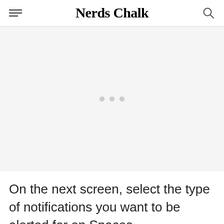Nerds Chalk
[Figure (other): Advertisement placeholder area with three gray dots centered in a light gray box]
On the next screen, select the type of notifications you want to be alerted for on Spaces.